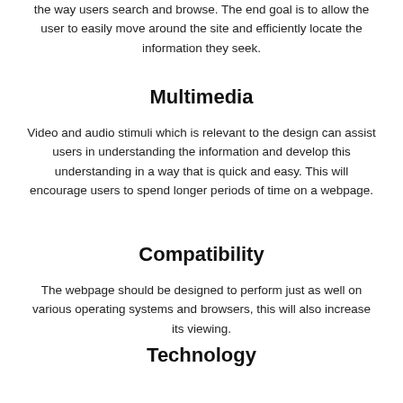the way users search and browse. The end goal is to allow the user to easily move around the site and efficiently locate the information they seek.
Multimedia
Video and audio stimuli which is relevant to the design can assist users in understanding the information and develop this understanding in a way that is quick and easy. This will encourage users to spend longer periods of time on a webpage.
Compatibility
The webpage should be designed to perform just as well on various operating systems and browsers, this will also increase its viewing.
Technology
Designers are given the freedom to incorporate innovation and movement thanks to advancements in technology, this allows for web designs to always be dynamic and fresh yet professional.